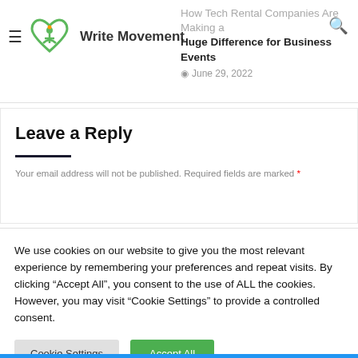Write Movement
How Tech Rental Companies Are Making a Huge Difference for Business Events
June 29, 2022
Leave a Reply
Your email address will not be published. Required fields are marked *
We use cookies on our website to give you the most relevant experience by remembering your preferences and repeat visits. By clicking "Accept All", you consent to the use of ALL the cookies. However, you may visit "Cookie Settings" to provide a controlled consent.